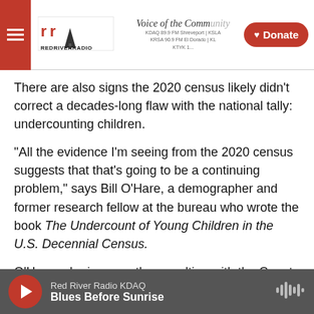Red River Radio — Voice of the Community — Donate
There are also signs the 2020 census likely didn't correct a decades-long flaw with the national tally: undercounting children.
"All the evidence I'm seeing from the 2020 census suggests that that's going to be a continuing problem," says Bill O'Hare, a demographer and former research fellow at the bureau who wrote the book The Undercount of Young Children in the U.S. Decennial Census.
O'Hare, who is currently consulting with the Count All Kids Campaign, says that...
Red River Radio KDAQ — Blues Before Sunrise